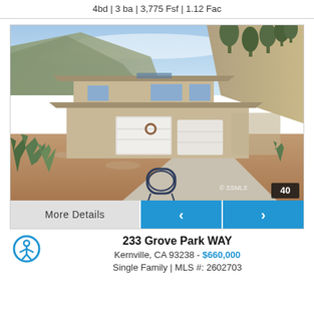4bd | 3 ba | 3,775 Fsf | 1.12 Fac
[Figure (photo): Exterior photo of a two-story mid-century style home with tan/beige siding, two-car garage, mountain backdrop, desert landscaping with agave plants, and a metal patio chair in the foreground. Photo count badge showing 40.]
More Details
233 Grove Park WAY
Kernville, CA 93238 - $660,000
Single Family | MLS #: 2602703